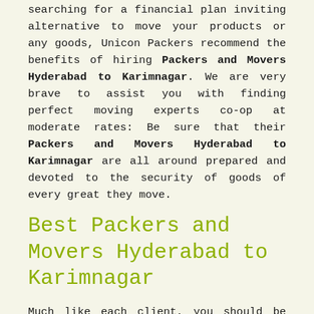searching for a financial plan inviting alternative to move your products or any goods, Unicon Packers recommend the benefits of hiring Packers and Movers Hyderabad to Karimnagar. We are very brave to assist you with finding perfect moving experts co-op at moderate rates: Be sure that their Packers and Movers Hyderabad to Karimnagar are all around prepared and devoted to the security of goods of every great they move.
Best Packers and Movers Hyderabad to Karimnagar
Much like each client, you should be searching for the best Packers and Movers Hyderabad to Karimnagar for a restful moving experience. While pursuit for expert relocation organizations, your moving financial plan, needed goods, and accommodation must be kept at-need and just expert Packers and Movers Hyderabad to Karimnagar can carry out this responsibility. Along